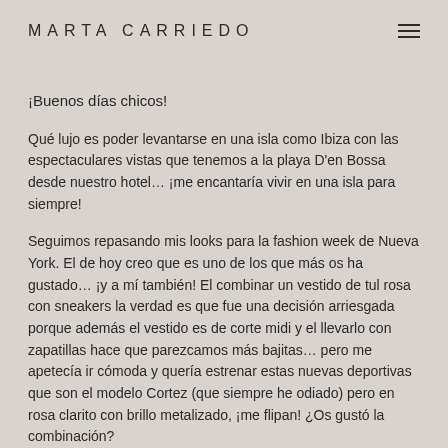MARTA CARRIEDO
¡Buenos días chicos!
Qué lujo es poder levantarse en una isla como Ibiza con las espectaculares vistas que tenemos a la playa D'en Bossa desde nuestro hotel… ¡me encantaría vivir en una isla para siempre!
Seguimos repasando mis looks para la fashion week de Nueva York. El de hoy creo que es uno de los que más os ha gustado… ¡y a mí también! El combinar un vestido de tul rosa con sneakers la verdad es que fue una decisión arriesgada porque además el vestido es de corte midi y el llevarlo con zapatillas hace que parezcamos más bajitas… pero me apetecía ir cómoda y quería estrenar estas nuevas deportivas que son el modelo Cortez (que siempre he odiado) pero en rosa clarito con brillo metalizado, ¡me flipan! ¿Os gustó la combinación?